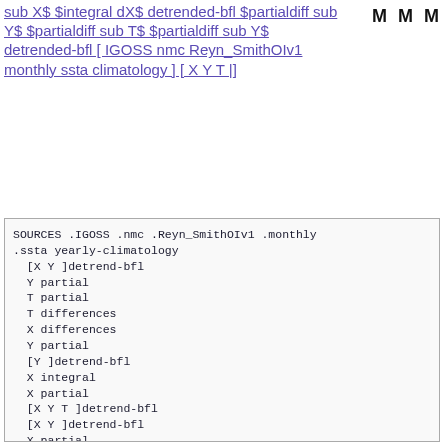sub X$ $integral dX$ detrended-bfl $partialdiff sub Y$ $partialdiff sub T$ $partialdiff sub Y$ detrended-bfl [ IGOSS nmc Reyn_SmithOIv1 monthly ssta climatology ] [ X Y T |]
M M M
SOURCES .IGOSS .nmc .Reyn_SmithOIv1 .monthly
.ssta yearly-climatology
  [X Y ]detrend-bfl
  Y partial
  T partial
  T differences
  X differences
  Y partial
  [Y ]detrend-bfl
  X integral
  X partial
  [X Y T ]detrend-bfl
  [X Y ]detrend-bfl
  X partial
  T integral
  X partial
  T integral